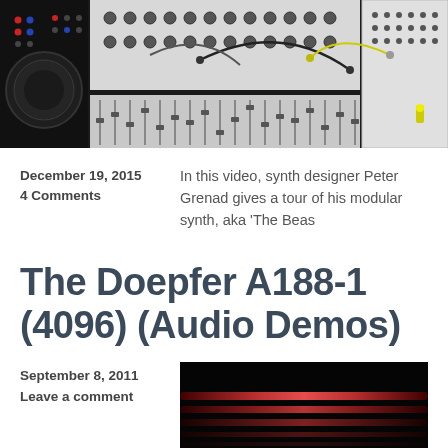[Figure (photo): Close-up photograph of a modular synthesizer with many knobs, buttons, patch cables, and control modules]
December 19, 2015
4 Comments
In this video, synth designer Peter Grenad gives a tour of his modular synth, aka 'The Beas
The Doepfer A188-1 (4096) (Audio Demos)
September 8, 2011
Leave a comment
[Figure (photo): Dark image with glowing red/orange light bars, likely showing audio equipment or a synthesizer with illuminated elements]